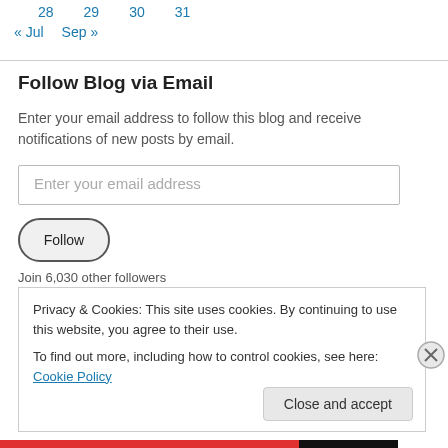28   29   30   31
« Jul   Sep »
Follow Blog via Email
Enter your email address to follow this blog and receive notifications of new posts by email.
Enter your email address
Follow
Join 6,030 other followers
Privacy & Cookies: This site uses cookies. By continuing to use this website, you agree to their use.
To find out more, including how to control cookies, see here: Cookie Policy
Close and accept